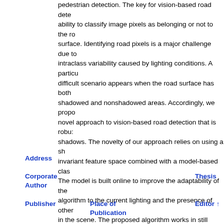pedestrian detection. The key for vision-based road detection is the ability to classify image pixels as belonging or not to the road surface. Identifying road pixels is a major challenge due to the intraclass variability caused by lighting conditions. A particularly difficult scenario appears when the road surface has both shadowed and nonshadowed areas. Accordingly, we propose a novel approach to vision-based road detection that is robust to shadows. The novelty of our approach relies on using a shadow-invariant feature space combined with a model-based classifier. The model is built online to improve the adaptability of the algorithm to the current lighting and the presence of other vehicles in the scene. The proposed algorithm works in still images and does not depend on either road shape or temporal restrictions. Quantitative and qualitative experiments on real-world road sequences with heavy traffic and shadows show that the method is robust to shadows and lighting variations. Moreover, the proposed method provides the highest performance when compared to hue-saturation-intensity (HSI)-based algorithms.
Address
Corporate Author
Thesis
Publisher
Place of Publication
Editor ↑
Language
Summary Language
Original Title
Series Editor
Series Title
Abbreviated Series Title